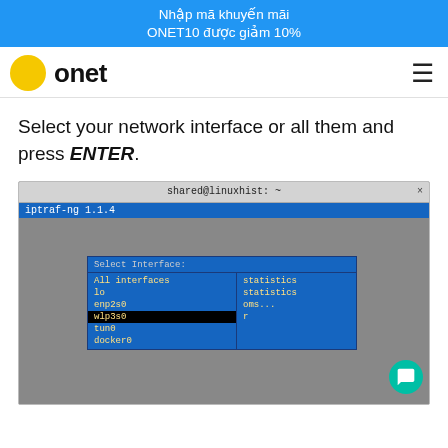Nhập mã khuyến mãi ONET10 được giảm 10%
[Figure (logo): Onet logo with yellow circle and bold 'onet' text, hamburger menu icon on right]
Select your network interface or all them and press ENTER.
[Figure (screenshot): Terminal screenshot showing iptraf-ng 1.1.4 with a Select Interface dialog listing: All interfaces, lo, enp2s0, wlp3s0 (selected/highlighted), tun0, docker0; right pane shows statistics, statistics, oms..., r]